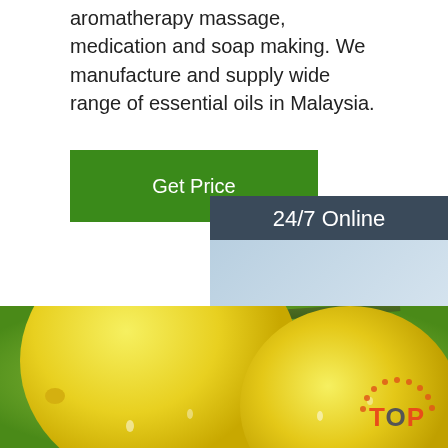aromatherapy massage, medication and soap making. We manufacture and supply wide range of essential oils in Malaysia.
Get Price
24/7 Online
[Figure (photo): Woman with headset smiling, customer service representative]
Click here for free chat !
QUOTATION
[Figure (photo): Close-up of two yellow lemons on a branch with green leaves, water droplets visible]
[Figure (logo): TOP watermark logo in red/orange dotted arc style at bottom right]